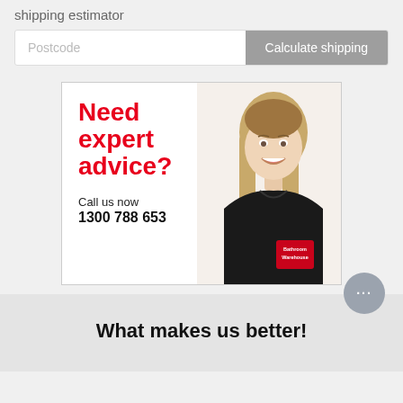shipping estimator
Postcode
Calculate shipping
[Figure (photo): Advertisement banner for Bathroom Warehouse showing a smiling female employee in a black Bathroom Warehouse polo shirt, with text 'Need expert advice? Call us now 1300 788 653']
What makes us better!